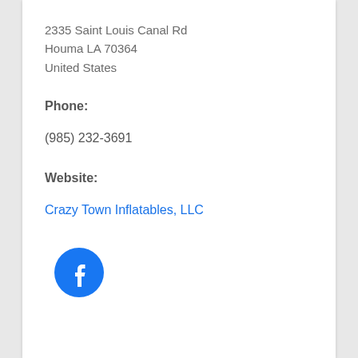2335 Saint Louis Canal Rd
Houma LA 70364
United States
Phone:
(985) 232-3691
Website:
Crazy Town Inflatables, LLC
[Figure (logo): Facebook logo icon — blue circle with white 'f' letter]